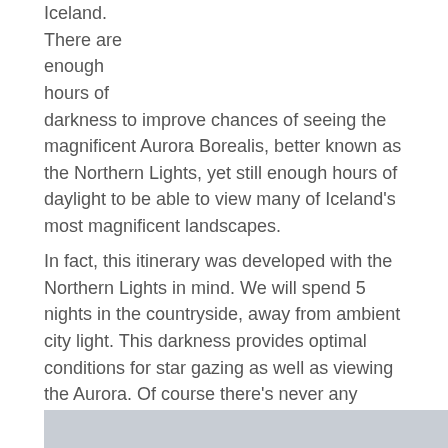Iceland. There are enough hours of darkness to improve chances of seeing the magnificent Aurora Borealis, better known as the Northern Lights, yet still enough hours of daylight to be able to view many of Iceland's most magnificent landscapes.
In fact, this itinerary was developed with the Northern Lights in mind. We will spend 5 nights in the countryside, away from ambient city light. This darkness provides optimal conditions for star gazing as well as viewing the Aurora. Of course there's never any guarantee that the Aurora will be visible. It's all a matter of luck and cloud cover.
[Figure (photo): Partial image strip visible at the bottom of the page, showing a light gray/blue landscape scene.]